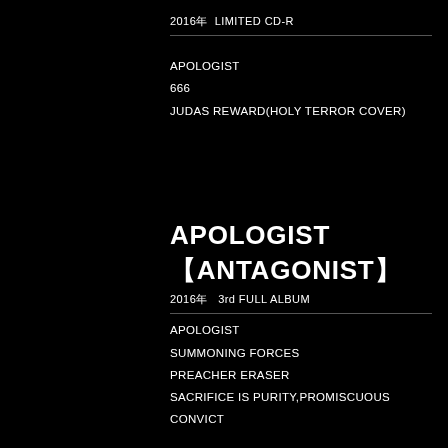2016年  LIMITED CD-R
APOLOGIST
666
JUDAS REWARD(HOLY TERROR COVER)
APOLOGIST
【ANTAGONIST】
2016年  3rd FULL ALBUM
APOLOGIST
SUMMONING FORCES
PREACHER ERASER
SACRIFICE IS PURITY,PROMISCUOUS
CONVICT